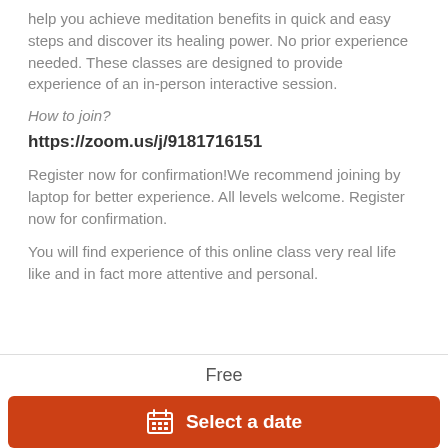help you achieve meditation benefits in quick and easy steps and discover its healing power. No prior experience needed. These classes are designed to provide experience of an in-person interactive session.
How to join?
https://zoom.us/j/9181716151
Register now for confirmation!We recommend joining by laptop for better experience. All levels welcome. Register now for confirmation.
You will find experience of this online class very real life like and in fact more attentive and personal.
Free
Select a date